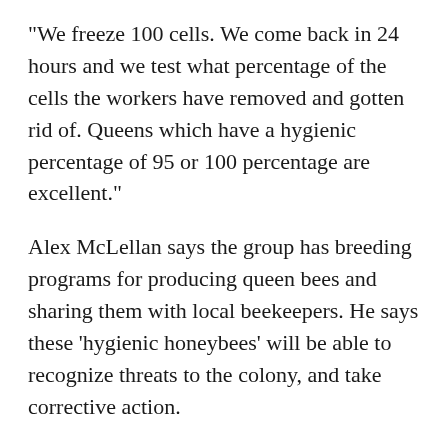"We freeze 100 cells. We come back in 24 hours and we test what percentage of the cells the workers have removed and gotten rid of. Queens which have a hygienic percentage of 95 or 100 percentage are excellent."
Alex McLellan says the group has breeding programs for producing queen bees and sharing them with local beekeepers. He says these 'hygienic honeybees' will be able to recognize threats to the colony, and take corrective action.
"We keep records on every single hive, and that compendium of records goes back quite a long time. From that we can look at the genetics and the survivability of all our hives. Prior to this year, I think we had a survivability of something over 90 percent, that's far higher than the average nationally."